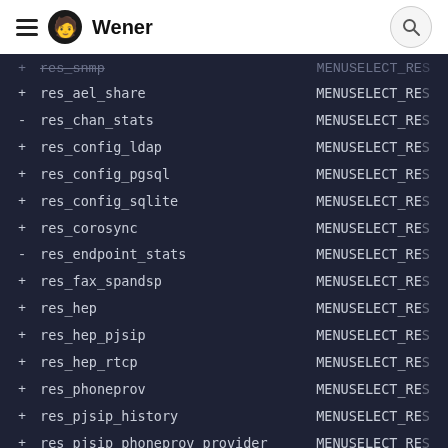Wener
+ res_ael_share   MENUSELECT_RES
- res_chan_stats   MENUSELECT_RES
+ res_config_ldap   MENUSELECT_RES
+ res_config_pgsql   MENUSELECT_RES
+ res_config_sqlite   MENUSELECT_RES
+ res_corosync   MENUSELECT_RES
- res_endpoint_stats   MENUSELECT_RES
+ res_fax_spandsp   MENUSELECT_RES
+ res_hep   MENUSELECT_RES
+ res_hep_pjsip   MENUSELECT_RES
+ res_hep_rtcp   MENUSELECT_RES
+ res_phoneprov   MENUSELECT_RES
+ res_pjsip_history   MENUSELECT_RES
+ res_pjsip_phoneprov_provider   MENUSELECT_RES
- res_pktccops   MENUSELECT_RES
+ res_snmp   MENUSELECT_RES
+ res_statsd   MENUSELECT_RES
+ res_timing_kqueue   MENUSELECT_RES